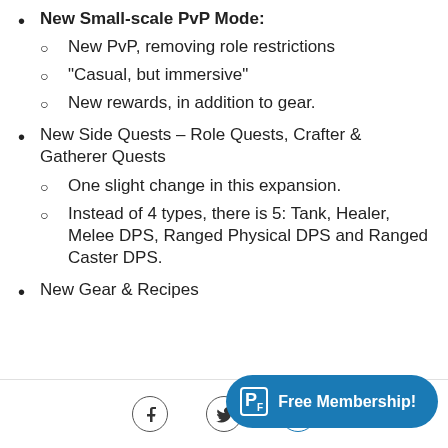New Small-scale PvP Mode:
New PvP, removing role restrictions
“Casual, but immersive”
New rewards, in addition to gear.
New Side Quests – Role Quests, Crafter & Gatherer Quests
One slight change in this expansion.
Instead of 4 types, there is 5: Tank, Healer, Melee DPS, Ranged Physical DPS and Ranged Caster DPS.
New Gear & Recipes
Free Membership!